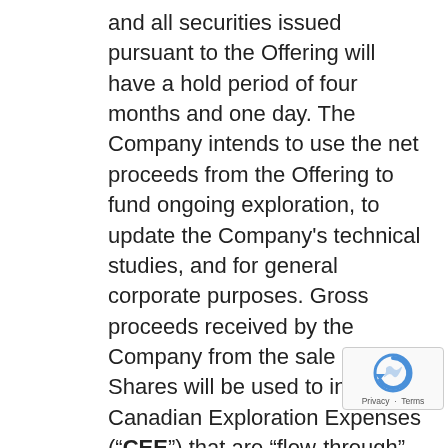and all securities issued pursuant to the Offering will have a hold period of four months and one day. The Company intends to use the net proceeds from the Offering to fund ongoing exploration, to update the Company's technical studies, and for general corporate purposes. Gross proceeds received by the Company from the sale of FT Shares will be used to incur Canadian Exploration Expenses (“CEE”) that are “flow-through” mining expenditures (as such terms are defined in the Income Tax Act (Canada)). Such gross proceeds will be renounced to the subscribers with an effective date not later than December 31, 2020, in the aggregate amount of not less than the total amount of the gross proceeds raised from the issue of FT Shares.